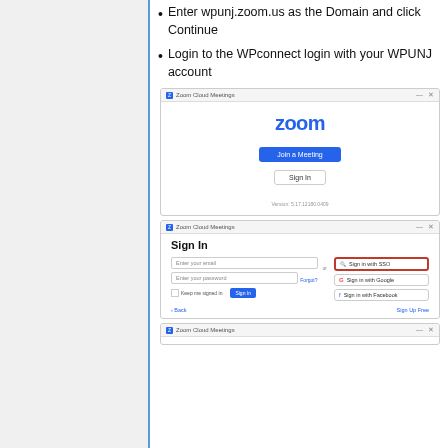Enter wpunj.zoom.us as the Domain and click Continue
Login to the WPconnect login with your WPUNJ account
[Figure (screenshot): Zoom Cloud Meetings desktop application showing the main launch screen with 'zoom' logo in blue, 'Join a Meeting' blue button, 'Sign In' outline button, and version number at bottom]
[Figure (screenshot): Zoom Cloud Meetings Sign In screen showing email and password fields on the left, and SSO (highlighted with red border), Google, and Facebook sign-in buttons on the right, with Back and Sign Up Free links at the bottom]
[Figure (screenshot): Zoom Cloud Meetings third screen (partially visible at bottom)]